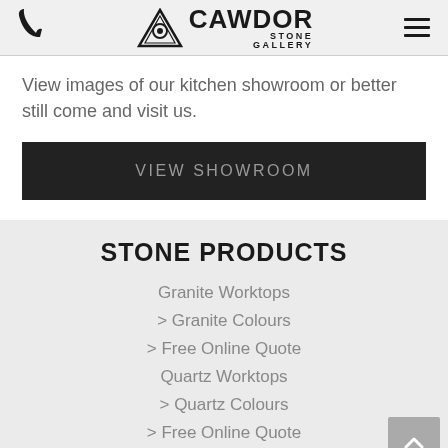Cawdor Stone Gallery — navigation header
View images of our kitchen showroom or better still come and visit us.
VIEW SHOWROOM
STONE PRODUCTS
Granite Worktops
> Granite Colours
> Free Online Quote
Quartz Worktops
> Quartz Colours
> Free Online Quote
Marble Surfaces